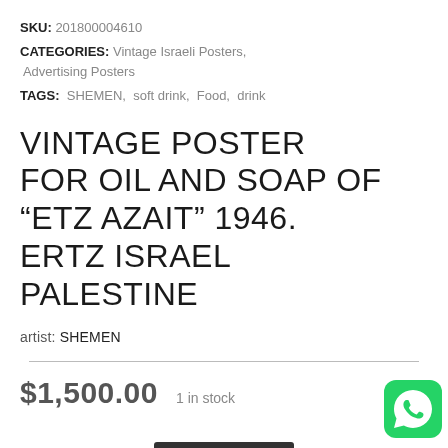SKU: 201800004610
CATEGORIES: Vintage Israeli Posters, Advertising Posters
TAGS: SHEMEN, soft drink, Food, drink
VINTAGE POSTER FOR OIL AND SOAP OF “ETZ AZAIT” 1946. ERTZ ISRAEL PALESTINE
artist: SHEMEN
$1,500.00  1 in stock